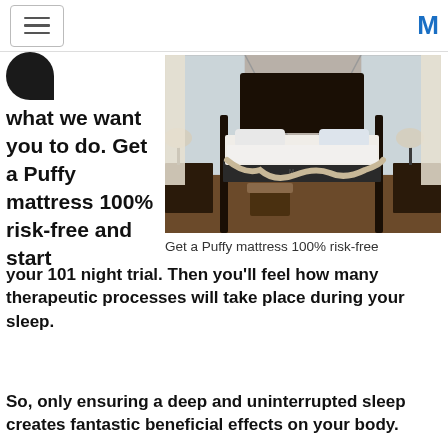[hamburger menu] [M logo]
what we want you to do. Get a Puffy mattress 100% risk-free and start your 101 night trial. Then you'll feel how many therapeutic processes will take place during your sleep.
[Figure (photo): Bedroom with a dark four-poster bed, white bedding, and a dark mattress, windows with curtains in background]
Get a Puffy mattress 100% risk-free
So, only ensuring a deep and uninterrupted sleep creates fantastic beneficial effects on your body.